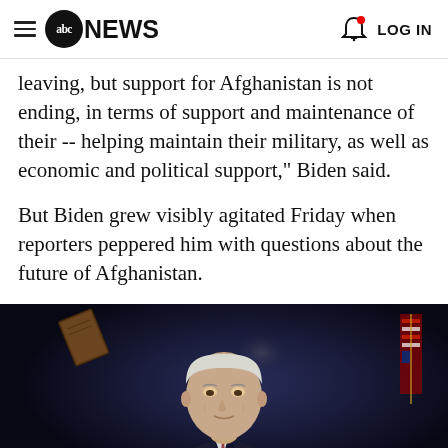ABC NEWS  LOG IN
leaving, but support for Afghanistan is not ending, in terms of support and maintenance of their -- helping maintain their military, as well as economic and political support," Biden said.
But Biden grew visibly agitated Friday when reporters peppered him with questions about the future of Afghanistan.
[Figure (photo): Photo of President Biden speaking at a podium, dark blue background, with a floating notebook visible in the upper left and an American flag partially visible on the right side.]